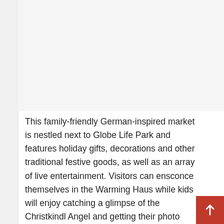[Figure (photo): Image placeholder area at top of page (photo of German Christmas market, not visible in this crop)]
This family-friendly German-inspired market is nestled next to Globe Life Park and features holiday gifts, decorations and other traditional festive goods, as well as an array of live entertainment. Visitors can ensconce themselves in the Warming Haus while kids will enjoy catching a glimpse of the Christkindl Angel and getting their photo taken with Santa himself.
The market also claims to be the only place in the southwest where you can find exclusive Käthe Wohlfahrt Christmas decorations and designs from the renowned